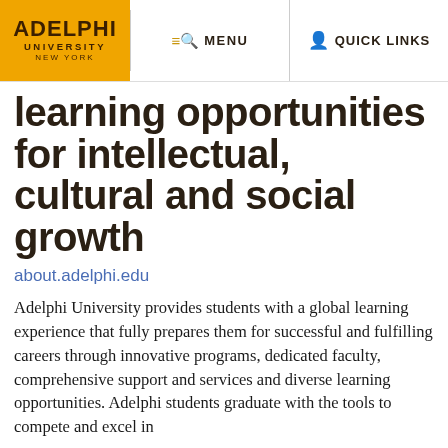[Figure (logo): Adelphi University New York logo on gold/amber background]
MENU   QUICK LINKS
learning opportunities for intellectual, cultural and social growth
about.adelphi.edu
Adelphi University provides students with a global learning experience that fully prepares them for successful and fulfilling careers through innovative programs, dedicated faculty, comprehensive support and services and diverse learning opportunities. Adelphi students graduate with the tools to compete and excel in